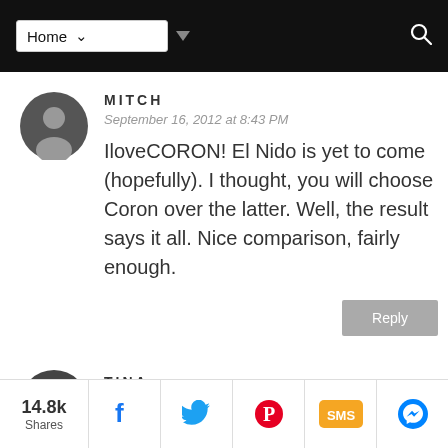Home [navigation bar]
MITCH
September 16, 2012 at 8:43 PM
IloveCORON! El Nido is yet to come (hopefully). I thought, you will choose Coron over the latter. Well, the result says it all. Nice comparison, fairly enough.
TINA
14.8k Shares | Facebook | Twitter | Pinterest | SMS | Messenger